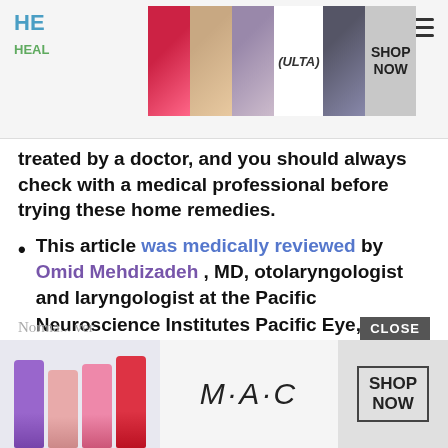HE... HEAL...
[Figure (advertisement): ULTA beauty advertisement banner with makeup images and SHOP NOW button at top]
treated by a doctor, and you should always check with a medical professional before trying these home remedies.
This article was medically reviewed by Omid Mehdizadeh , MD, otolaryngologist and laryngologist at the Pacific Neuroscience Institutes Pacific Eye, Ear & Skull Base Center at Providence Saint Johns Health Center in Santa Monica, CA.
Ear wax is a fatty substance produced in your ear canal. The wax medically known as cerumen cleans your ears, protects them from infection, and lubricates the ear canal to stop it from becoming too dry.
Norma... ver
[Figure (advertisement): MAC cosmetics advertisement banner with lipsticks and SHOP NOW button at bottom]